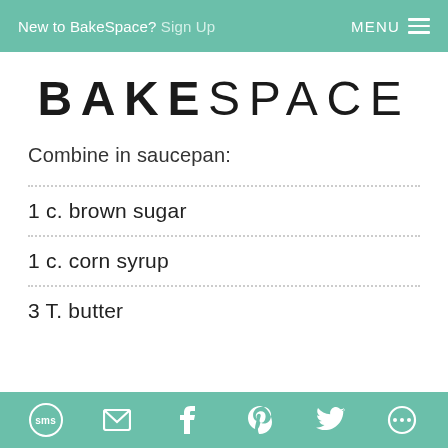New to BakeSpace? Sign Up   MENU
BAKESPACE
Combine in saucepan:
1 c. brown sugar
1 c. corn syrup
3 T. butter
SMS | Email | Facebook | Pinterest | Twitter | Other